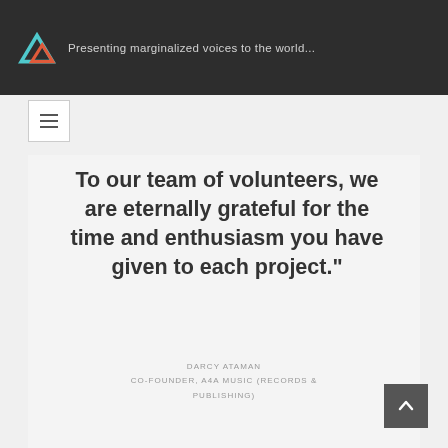Presenting marginalized voices to the world...
To our team of volunteers, we are eternally grateful for the time and enthusiasm you have given to each project."
DARCY ATAMAN
CO-FOUNDER, A4A MUSIC (RECORDS & PUBLISHING)